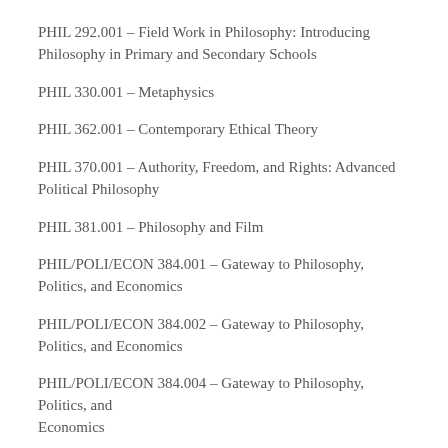PHIL 292.001 – Field Work in Philosophy: Introducing Philosophy in Primary and Secondary Schools
PHIL 330.001 – Metaphysics
PHIL 362.001 – Contemporary Ethical Theory
PHIL 370.001 – Authority, Freedom, and Rights: Advanced Political Philosophy
PHIL 381.001 – Philosophy and Film
PHIL/POLI/ECON 384.001 – Gateway to Philosophy, Politics, and Economics
PHIL/POLI/ECON 384.002 – Gateway to Philosophy, Politics, and Economics
PHIL/POLI/ECON 384.004 – Gateway to Philosophy, Politics, and Economics